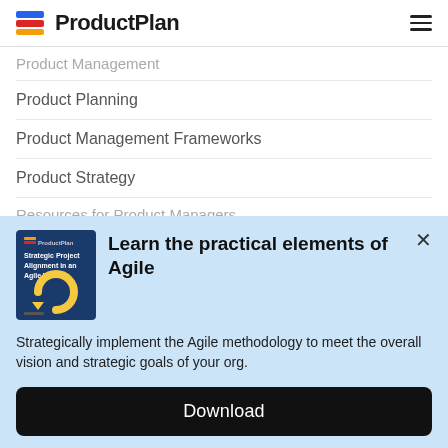ProductPlan
Product Management
Product Planning
Product Management Frameworks
Product Strategy
Resources for Product Managers
[Figure (other): ProductPlan ebook cover: Strategic Project Alignment in an Agile World, dark blue background with yellow circular arrow graphic]
Learn the practical elements of Agile
Strategically implement the Agile methodology to meet the overall vision and strategic goals of your org.
Download